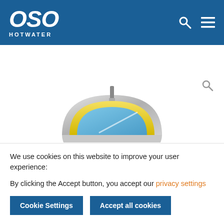OSO HOTWATER
[Figure (illustration): Partial cross-section illustration of a hot water tank showing silver outer casing, yellow insulation ring, and blue inner tank with a pipe fitting on top]
We use cookies on this website to improve your user experience:
By clicking the Accept button, you accept our privacy settings
Cookie Settings
Accept all cookies